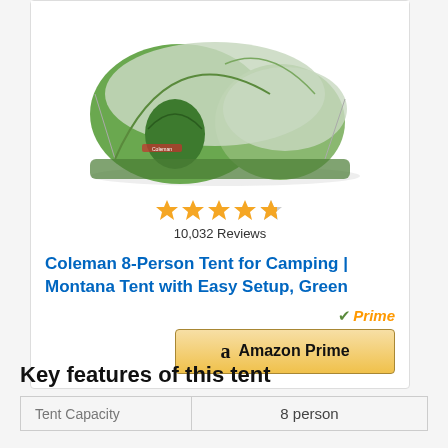[Figure (photo): Green Coleman 8-person dome tent on white background]
★★★★☆ 10,032 Reviews
Coleman 8-Person Tent for Camping | Montana Tent with Easy Setup, Green
[Figure (logo): Amazon Prime button with checkmark and Prime label]
Key features of this tent
| Tent Capacity |  |
| --- | --- |
| Tent Capacity | 8 person |